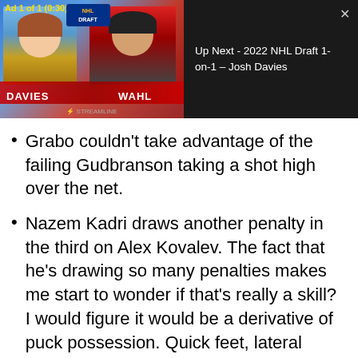[Figure (screenshot): Video player overlay showing a live stream or recorded video with two participants labeled DAVIES and WAHL, with ad indicator 'Ad 1 of 1 (0:30)' and an NHL Draft logo. Right side shows 'Up Next' panel.]
Up Next - 2022 NHL Draft 1-on-1 – Josh Davies
Grabo couldn't take advantage of the failing Gudbranson taking a shot high over the net.
Nazem Kadri draws another penalty in the third on Alex Kovalev. The fact that he's drawing so many penalties makes me start to wonder if that's really a skill? I would figure it would be a derivative of puck possession. Quick feet, lateral shifts and breakaway speed are likely to draw a lot of penalties.
Great decision by Gunnerson just to get the